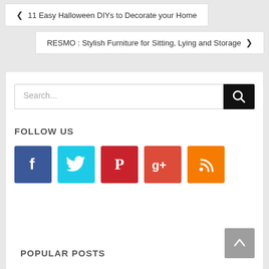❮ 11 Easy Halloween DIYs to Decorate your Home
RESMO : Stylish Furniture for Sitting, Lying and Storage ❯
Search...
FOLLOW US
[Figure (infographic): Row of 5 social media icon buttons: Facebook (blue), Twitter (cyan), Pinterest (red), Google+ (red-orange), RSS (orange)]
POPULAR POSTS